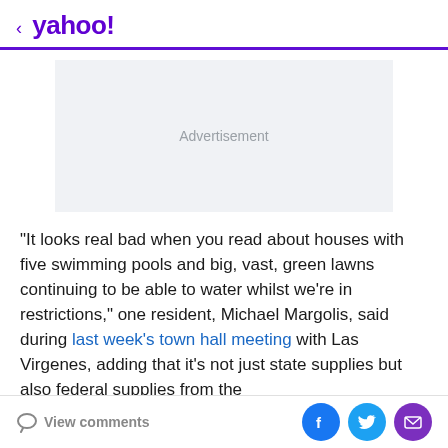< yahoo!
[Figure (other): Advertisement placeholder box with light grey background]
"It looks real bad when you read about houses with five swimming pools and big, vast, green lawns continuing to be able to water whilst we're in restrictions," one resident, Michael Margolis, said during last week's town hall meeting with Las Virgenes, adding that it's not just state supplies but also federal supplies from the
View comments  [Facebook] [Twitter] [Mail]